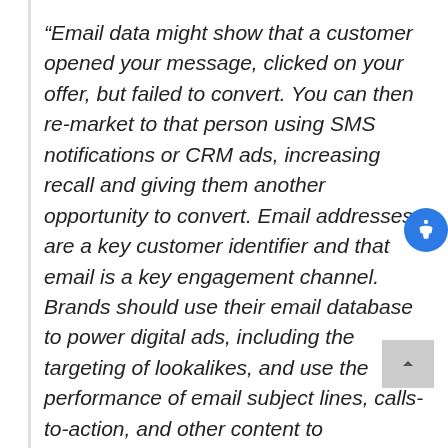“Email data might show that a customer opened your message, clicked on your offer, but failed to convert. You can then re-market to that person using SMS notifications or CRM ads, increasing recall and giving them another opportunity to convert. Email addresses are a key customer identifier and that email is a key engagement channel. Brands should use their email database to power digital ads, including the targeting of lookalikes, and use the performance of email subject lines, calls-to-action, and other content to